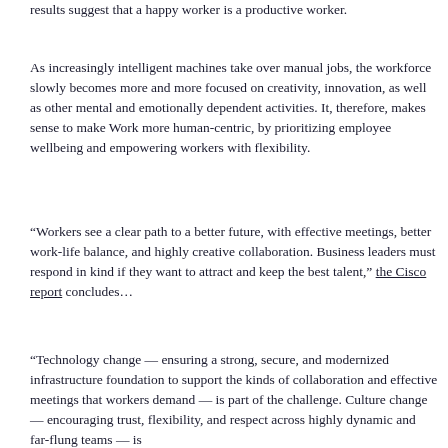results suggest that a happy worker is a productive worker.
As increasingly intelligent machines take over manual jobs, the workforce slowly becomes more and more focused on creativity, innovation, as well as other mental and emotionally dependent activities. It, therefore, makes sense to make Work more human-centric, by prioritizing employee wellbeing and empowering workers with flexibility.
“Workers see a clear path to a better future, with effective meetings, better work-life balance, and highly creative collaboration. Business leaders must respond in kind if they want to attract and keep the best talent,” the Cisco report concludes…
“Technology change — ensuring a strong, secure, and modernized infrastructure foundation to support the kinds of collaboration and effective meetings that workers demand — is part of the challenge. Culture change — encouraging trust, flexibility, and respect across highly dynamic and far-flung teams — is